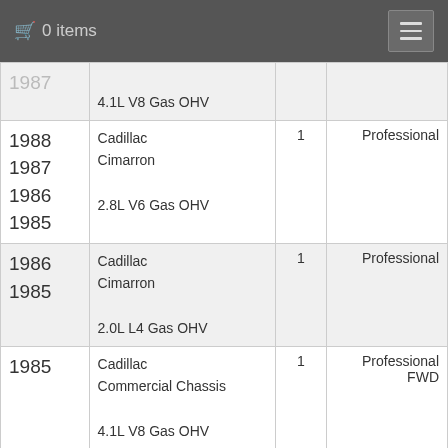0 items
| Year | Model | Qty | Type |
| --- | --- | --- | --- |
| 1987 (partial) | 4.1L V8 Gas OHV |  |  |
| 1988 1987 1986 1985 | Cadillac Cimarron
2.8L V6 Gas OHV | 1 | Professional |
| 1986 1985 | Cadillac Cimarron
2.0L L4 Gas OHV | 1 | Professional |
| 1985 | Cadillac Commercial Chassis
4.1L V8 Gas OHV | 1 | Professional FWD |
| 1985 | Cadillac Commercial Chassis | 1 | Professional |